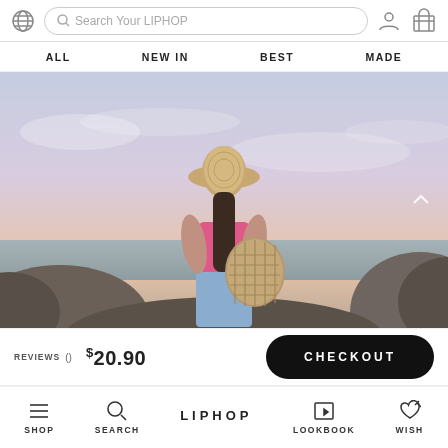Search Your LIPHOP — ALL  NEW IN  BEST  MADE
[Figure (photo): Woman seen from behind wearing a straw bucket hat and pink bikini top, holding a woven tote bag, standing on rocks by the ocean at sunset with a pastel sky]
REVIEWS ()  $20.90  CHECKOUT
SHOP  SEARCH  LIPHOP  LOOKBOOK  WISH